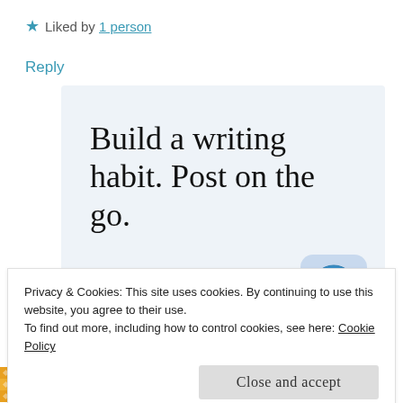★ Liked by 1 person
Reply
[Figure (infographic): WordPress app advertisement: 'Build a writing habit. Post on the go.' with GET THE APP link and WordPress logo icon on light blue background]
Privacy & Cookies: This site uses cookies. By continuing to use this website, you agree to their use.
To find out more, including how to control cookies, see here: Cookie Policy
Close and accept
Leslie Lawrence